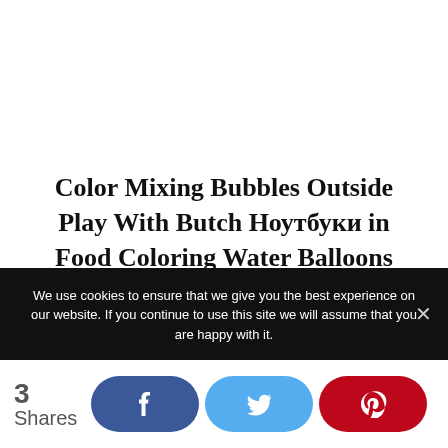Color Mixing Bubbles Outside Play With Butch Ноутбуки in Food Coloring Water Balloons
Children's coloring pages on the Internet provide a better assortment of subject matter than the
We use cookies to ensure that we give you the best experience on our website. If you continue to use this site we will assume that you are happy with it.
3 Shares